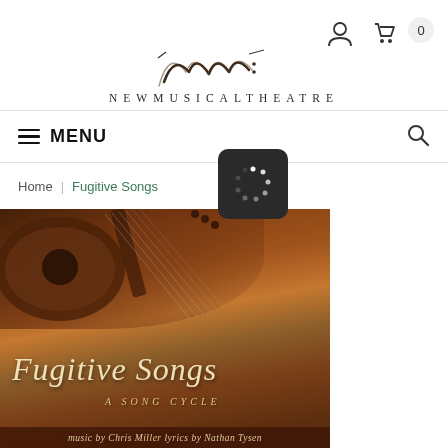[Figure (screenshot): Website header with user account icon, shopping cart icon with badge count 0, and New Musical Theatre logo with stylized script and NEWMUSICALTHEATRE text]
MENU
Home | Fugitive Songs
[Figure (other): Loading spinner (dark rounded square with spinning dots)]
[Figure (illustration): Fugitive Songs album cover: brown/terracotta textured background with guitar, handwritten-style title FUGITIVE SONGS, subtitle A SONG CYCLE, credits music by Chris Miller lyrics by Nathan Tysen]